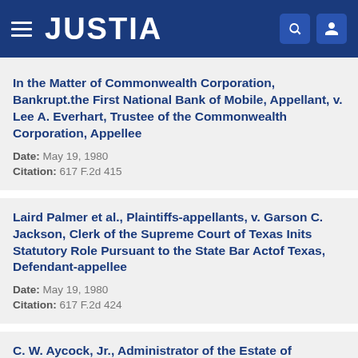JUSTIA
In the Matter of Commonwealth Corporation, Bankrupt.the First National Bank of Mobile, Appellant, v. Lee A. Everhart, Trustee of the Commonwealth Corporation, Appellee
Date: May 19, 1980
Citation: 617 F.2d 415
Laird Palmer et al., Plaintiffs-appellants, v. Garson C. Jackson, Clerk of the Supreme Court of Texas Inits Statutory Role Pursuant to the State Bar Actof Texas, Defendant-appellee
Date: May 19, 1980
Citation: 617 F.2d 424
C. W. Aycock, Jr., Administrator of the Estate of